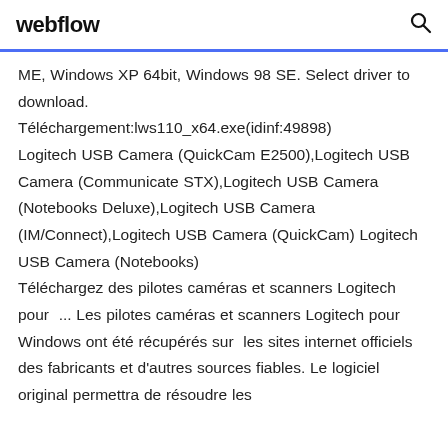webflow
ME, Windows XP 64bit, Windows 98 SE. Select driver to download. Téléchargement:lws110_x64.exe(idinf:49898) Logitech USB Camera (QuickCam E2500),Logitech USB Camera (Communicate STX),Logitech USB Camera (Notebooks Deluxe),Logitech USB Camera (IM/Connect),Logitech USB Camera (QuickCam) Logitech USB Camera (Notebooks) Téléchargez des pilotes caméras et scanners Logitech pour ... Les pilotes caméras et scanners Logitech pour Windows ont été récupérés sur les sites internet officiels des fabricants et d'autres sources fiables. Le logiciel original permettra de résoudre les